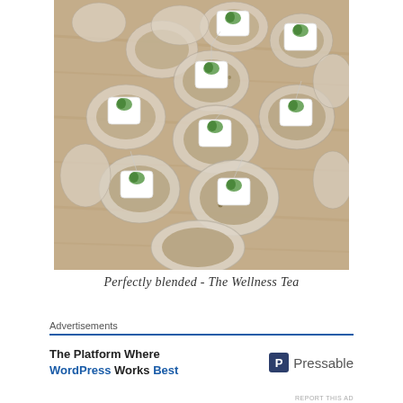[Figure (photo): Overhead photo of numerous transparent mesh tea bags filled with herbal tea blends, each with a small square label showing a green leaf logo, scattered on a wooden surface.]
Perfectly blended - The Wellness Tea
Advertisements
The Platform Where WordPress Works Best — Pressable
REPORT THIS AD